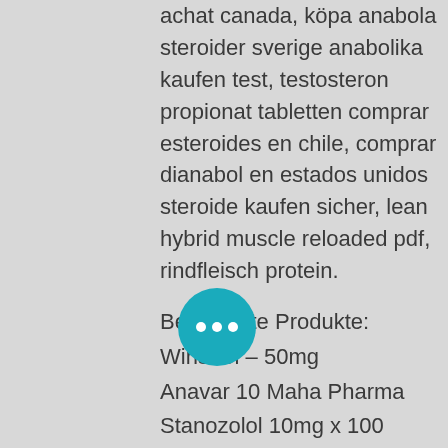achat canada, köpa anabola steroider sverige anabolika kaufen test, testosteron propionat tabletten comprar esteroides en chile, comprar dianabol en estados unidos steroide kaufen sicher, lean hybrid muscle reloaded pdf, rindfleisch protein.
Beliebteste Produkte:
Winstrol – 50mg
Anavar 10 Maha Pharma
Stanozolol 10mg x 100 tablets
Para Pharma UK Domestic
Oxydrolone 50 mg (50 tabs)
Methyldrostanolone
Stanozolol
Proviron
Clenbuterol 20mg x 200 tablets
Sustanon 250 10ml Vial / 250mg per 1ml
Dragon Pharma Europe Domestic
Tabs 25 mg (50 tabs)
Mastoral 10 mg (50 tabs)
Chlorodehydromethyltestosterone